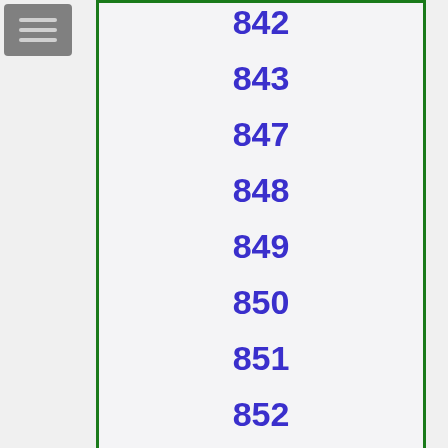[Figure (other): Gray hamburger menu button icon]
842
843
847
848
849
850
851
852